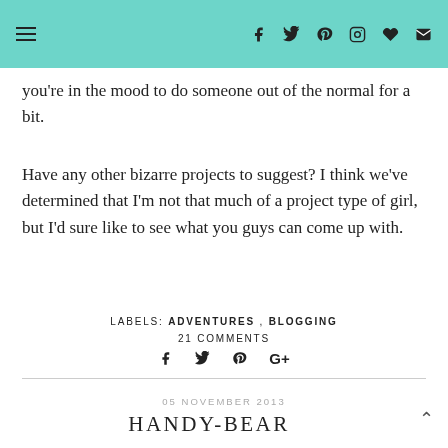Navigation menu and social icons header bar
you're in the mood to do someone out of the normal for a bit.
Have any other bizarre projects to suggest? I think we've determined that I'm not that much of a project type of girl, but I'd sure like to see what you guys can come up with.
LABELS: ADVENTURES , BLOGGING
21 COMMENTS
[Figure (infographic): Social share icons: Facebook, Twitter, Pinterest, Google+]
05 NOVEMBER 2013
HANDY-BEAR